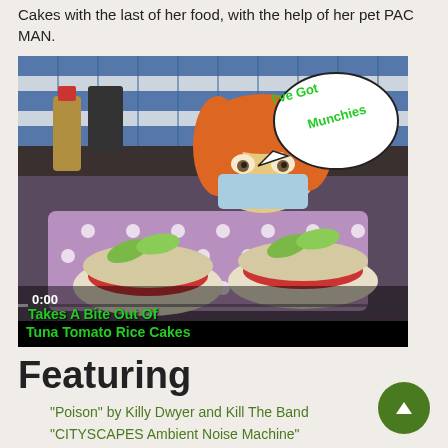Cakes with the last of her food, with the help of her pet PAC MAN.
[Figure (photo): Video thumbnail showing food items (tuna tomato rice cakes with avocado) on a polka dot tray, with a puppet peeking over wearing a face mask, speech bubble saying 'I've Got Munchies', overlay text reading 'Takes A Bite Out Of Tuna Tomato Rice Cakes' and timestamp 0:00]
Featuring
"Poison" by Killy Dwyer and Kill The Band
"CITYSCAPES Ambient Noise Machine"